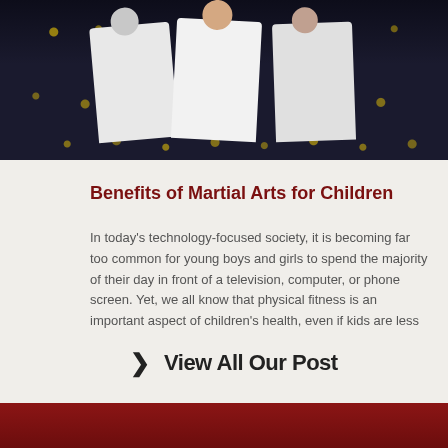[Figure (photo): Children practicing martial arts in white gi uniforms against a dark background with gold dot pattern]
Benefits of Martial Arts for Children
In today's technology-focused society, it is becoming far too common for young boys and girls to spend the majority of their day in front of a television, computer, or phone screen. Yet, we all know that physical fitness is an important aspect of children's health, even if kids are less interested in playing outside.
Read More »
View All Our Post